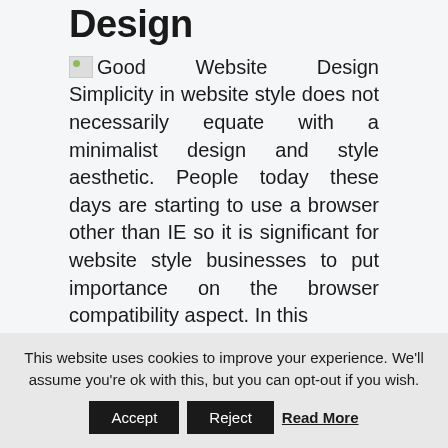Design
[Figure (photo): Broken image placeholder labeled 'Good Website Design']
Simplicity in website style does not necessarily equate with a minimalist design and style aesthetic. People today these days are starting to use a browser other than IE so it is significant for website style businesses to put importance on the browser compatibility aspect. In this
This website uses cookies to improve your experience. We'll assume you're ok with this, but you can opt-out if you wish.
Accept  Reject  Read More